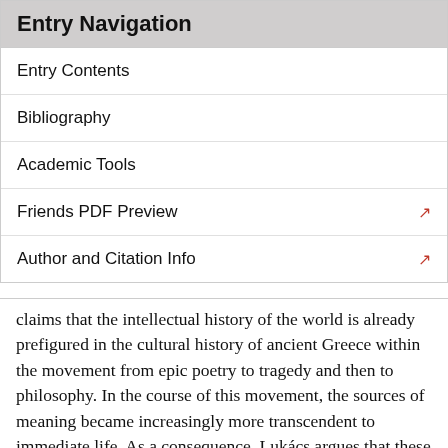Entry Navigation
Entry Contents
Bibliography
Academic Tools
Friends PDF Preview
Author and Citation Info
claims that the intellectual history of the world is already prefigured in the cultural history of ancient Greece within the movement from epic poetry to tragedy and then to philosophy. In the course of this movement, the sources of meaning became increasingly more transcendent to immediate life. As a consequence, Lukács argues that these three genres inhabit three different “transcendental loci” (1916: 36) concerning the question of totality. Tragedy and philosophy have already realized the loss of a meaningful totality, whereas the possibility of epic poetry depends on its immanence. As Lukács claims, this